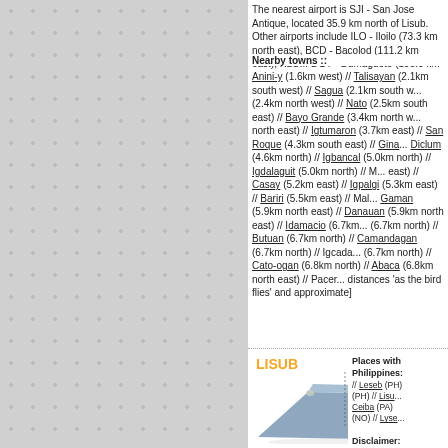The nearest airport is SJI - San Jose Antique, located 35.9 km north of Lisub. Other airports include ILO - Iloilo (73.3 km north east), BCD - Bacolod (111.2 km east), KLO... DGT - Dumaguete (193.6 km south east),
Nearby towns ::
Anini-y (1.6km west) // Talisayan (2.1km south west) // Sagua (2.1km south w... (2.4km north west) // Nato (2.5km south east) // Bayo Grande (3.4km north w... north east) // Igtumaron (3.7km east) // San Roque (4.3km south east) // Gina... Diclum (4.6km north) // Igbancal (5.0km north) // Igdalaguit (5.0km north) // M... east) // Casay (5.2km east) // Igpalgi (5.3km east) // Bariri (5.5km east) // Mal... Gaman (5.9km north east) // Danauan (5.9km north east) // Idamacio (6.7km... (6.7km north) // Butuan (6.7km north) // Camandagan (6.7km north) // Igcada... (6.7km north) // Cato-ogan (6.8km north) // Abaca (6.8km north east) // Pacer... distances 'as the bird flies' and approximate]
LISUB
Places with similar names in Philippines: // Leseb (PH) // Lisu... (PH) // Lisub... Ceiba (PA) // ... (NO) // Lyse...
Disclaimer: Information ... warranty of ...
[Figure (photo): A blue/grey rectangular flat object (possibly a map or surface) photographed at an angle against a white background, with some metallic clips visible at corners.]